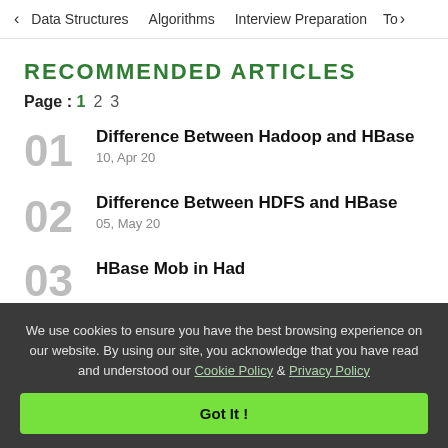< Data Structures   Algorithms   Interview Preparation   To>
RECOMMENDED ARTICLES
Page : 1 2 3
01 Difference Between Hadoop and HBase
10, Apr 20
02 Difference Between HDFS and HBase
05, May 20
03 HBase...
We use cookies to ensure you have the best browsing experience on our website. By using our site, you acknowledge that you have read and understood our Cookie Policy & Privacy Policy
Got It !